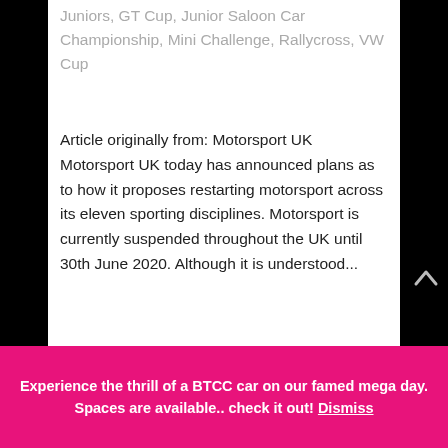Juniors, GT Cup, Junior Saloon Car Championship, Mini Challenge, Rallycross, VW Cup
Article originally from: Motorsport UK  Motorsport UK today has announced plans as to how it proposes restarting motorsport across its eleven sporting disciplines. Motorsport is currently suspended throughout the UK until 30th June 2020. Although it is understood...
Experience the thrill of a BTCC car on our famed mega day. Spaces are available.. check it out! Dismiss